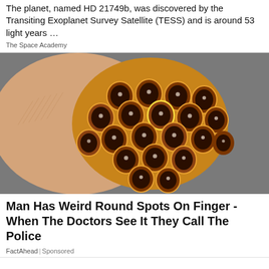The planet, named HD 21749b, was discovered by the Transiting Exoplanet Survey Satellite (TESS) and is around 53 light years …
The Space Academy
[Figure (photo): Close-up macro photograph of a fingertip holding a small cluster of round seed pods with dark hollow centers, arranged in a honeycomb-like pattern on a skin-toned finger against a gray background]
Man Has Weird Round Spots On Finger - When The Doctors See It They Call The Police
FactAhead | Sponsored